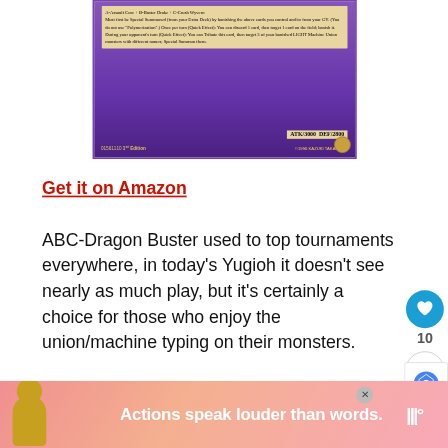[Figure (photo): Bottom portion of a Yu-Gi-Oh ABC-Dragon Buster card showing card effect text, ATK/3000 DEF/2800 stats, 1st Edition marking, and copyright info on a purple background]
Get it on Amazon
ABC-Dragon Buster used to top tournaments everywhere, in today's Yugioh it doesn't see nearly as much play, but it's certainly a choice for those who enjoy the union/machine typing on their monsters.
The aim is to summon ABC-Dragon Buster and from there it'll serve to out your opponents main cards in...
[Figure (infographic): What's Next widget showing Ultimate List of Yugioh... with a globe thumbnail image]
[Figure (photo): Advertisement banner with person silhouette and text: Actions speak louder than words.]